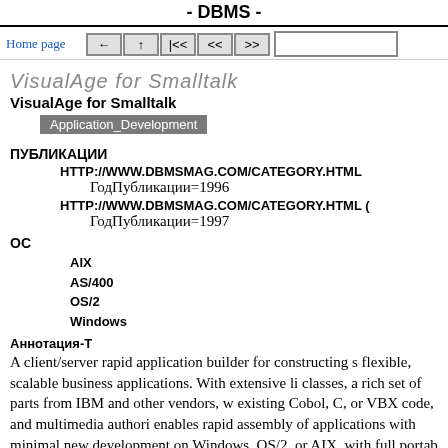- DBMS -
Home page
VisualAge for Smalltalk
Application_Development
ПУБЛИКАЦИИ
HTTP://WWW.DBMSMAG.COM/CATEGORY.HTML
ГодПубликации=1996
HTTP://WWW.DBMSMAG.COM/CATEGORY.HTML (
ГодПубликации=1997
ОС
AIX
AS/400
OS/2
Windows
Аннотация-Т
A client/server rapid application builder for constructing s flexible, scalable business applications. With extensive li classes, a rich set of parts from IBM and other vendors, w existing Cobol, C, or VBX code, and multimedia authori enables rapid assembly of applications with minimal new development on Windows, OS/2, or AIX, with full portab Combines a pure object-oriented environment with the ea